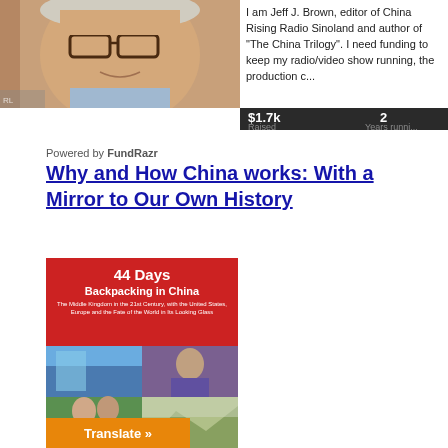[Figure (photo): Photo of Jeff J. Brown, a middle-aged man with glasses, smiling, wearing a light blue shirt]
I am Jeff J. Brown, editor of China Rising Radio Sinoland and author of "The China Trilogy". I need funding to keep my radio/video show running, the production c...
$1.7k Raised   2 Years running
Powered by FundRazr
Why and How China works: With a Mirror to Our Own History
[Figure (photo): Book cover of '44 Days Backpacking in China' with red background and photos of China landscapes and people, with a Translate button at the bottom]